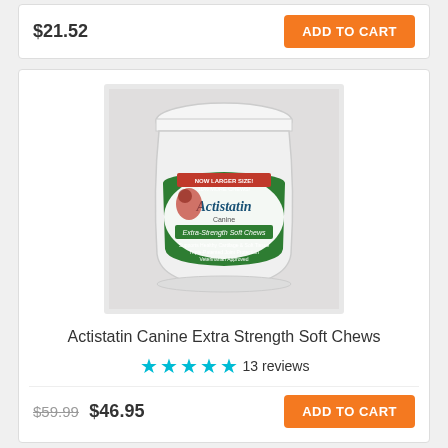$21.52
ADD TO CART
[Figure (photo): Product photo of Actistatin Canine Extra Strength Soft Chews supplement jar with green and white label, dog image on label]
Actistatin Canine Extra Strength Soft Chews
★★★★★ 13 reviews
$59.99  $46.95
ADD TO CART
Product Reviews